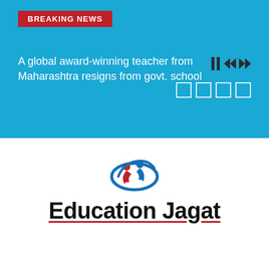BREAKING NEWS
A global award-winning teacher from Maharashtra resigns from govt. school
[Figure (logo): Education Jagat logo with stylized human figures in red and blue above the text]
Education Jagat